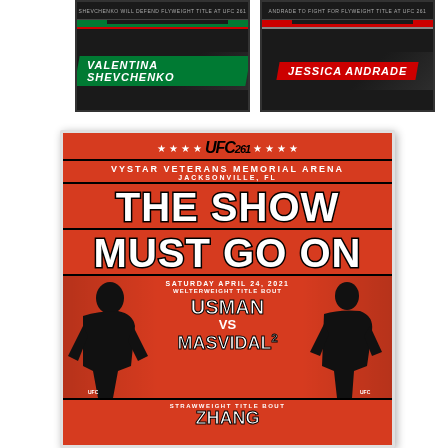[Figure (photo): UFC trading card style banner for Valentina Shevchenko, green and black design with fighter name in white italic text on dark background]
[Figure (photo): UFC trading card style banner for Jessica Andrade, red and black design with fighter name in white italic text on dark background]
[Figure (photo): UFC 261 event poster showing orange/red background with stars, venue info (Vystar Veterans Memorial Arena, Jacksonville FL), large text THE SHOW MUST GO ON, Saturday April 24 2021, Welterweight Title Bout Usman vs Masvidal 2 with fighter photos, and Strawweight Title Bout Zhang at bottom]